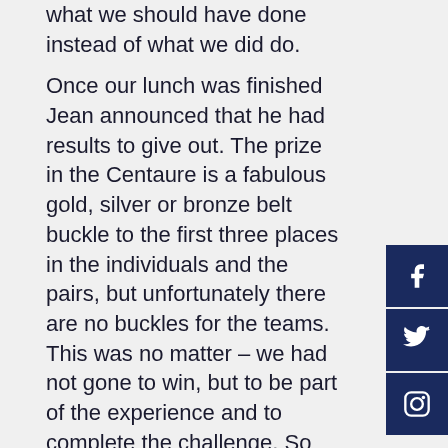what we should have done instead of what we did do.

Once our lunch was finished Jean announced that he had results to give out. The prize in the Centaure is a fabulous gold, silver or bronze belt buckle to the first three places in the individuals and the pairs, but unfortunately there are no buckles for the teams. This was no matter – we had not gone to win, but to be part of the experience and to complete the challenge. So we were extremely surprised to be announced as the winners of the team category. We were convinced our shenanigans of the darkest part of the first night had put us firmly out of contention. Jean told us, as he handed us our commemorative plaques, that next year he expected to see us riding not as a team, but as a pair and an individual. We replied that we would each be riding as individuals! And so the next challenge has been laid down.
[Figure (other): Social media buttons: Facebook, Twitter, Instagram]